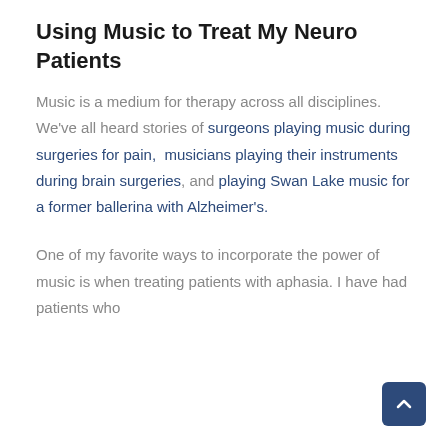Using Music to Treat My Neuro Patients
Music is a medium for therapy across all disciplines. We've all heard stories of surgeons playing music during surgeries for pain,  musicians playing their instruments during brain surgeries, and playing Swan Lake music for a former ballerina with Alzheimer's.
One of my favorite ways to incorporate the power of music is when treating patients with aphasia. I have had patients who